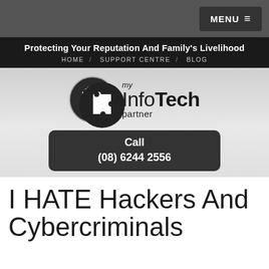MENU ≡
Protecting Your Reputation And Family's Livelihood
HOME / SUPPORT CENTRE / BLOG
[Figure (logo): my InfoTech partner logo — puzzle piece icon in circle with company name text]
Call
(08) 6244 2556
I HATE Hackers And Cybercriminals